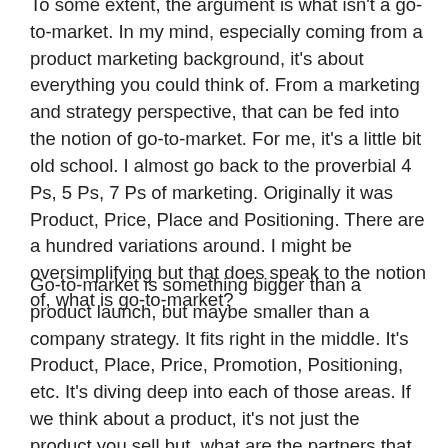To some extent, the argument is what isn't a go-to-market. In my mind, especially coming from a product marketing background, it's about everything you could think of. From a marketing and strategy perspective, that can be fed into the notion of go-to-market. For me, it's a little bit old school. I almost go back to the proverbial 4 Ps, 5 Ps, 7 Ps of marketing. Originally it was Product, Price, Place and Positioning. There are a hundred variations around. I might be oversimplifying but that does speak to the notion of, what is go-to-market?
Go-to-market is something bigger than a product launch, but maybe smaller than a company strategy. It fits right in the middle. It's Product, Place, Price, Promotion, Positioning, etc. It's diving deep into each of those areas. If we think about a product, it's not just the product you sell but, what are the partners that layer on to that? What are the services that add on? What's the whole product? What's the value proposition around that? Pricing strategy, that's